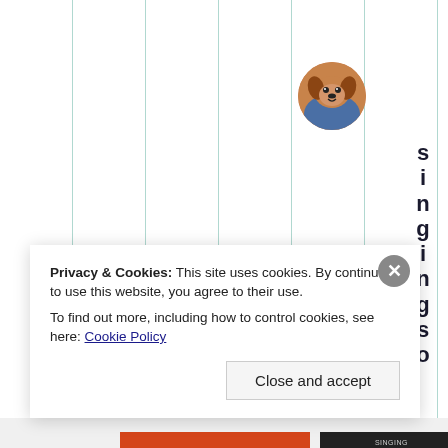[Figure (screenshot): Website screenshot showing a page with vertical teal/green grid lines on white background, a circular avatar image of a dog/puppy in the top right area, and vertical text reading 'singingso' on the far right side.]
Privacy & Cookies: This site uses cookies. By continuing to use this website, you agree to their use.
To find out more, including how to control cookies, see here: Cookie Policy
Close and accept